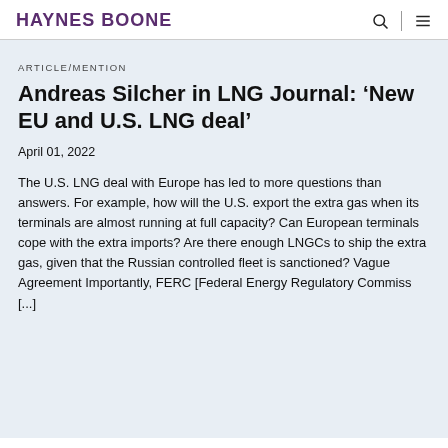HAYNES BOONE
ARTICLE/MENTION
Andreas Silcher in LNG Journal: ‘New EU and U.S. LNG deal’
April 01, 2022
The U.S. LNG deal with Europe has led to more questions than answers. For example, how will the U.S. export the extra gas when its terminals are almost running at full capacity? Can European terminals cope with the extra imports? Are there enough LNGCs to ship the extra gas, given that the Russian controlled fleet is sanctioned? Vague Agreement Importantly, FERC [Federal Energy Regulatory Commiss [...]